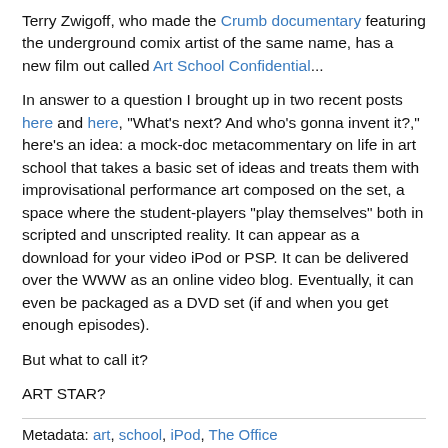Terry Zwigoff, who made the Crumb documentary featuring the underground comix artist of the same name, has a new film out called Art School Confidential...
In answer to a question I brought up in two recent posts here and here, "What's next? And who's gonna invent it?," here's an idea: a mock-doc metacommentary on life in art school that takes a basic set of ideas and treats them with improvisational performance art composed on the set, a space where the student-players "play themselves" both in scripted and unscripted reality. It can appear as a download for your video iPod or PSP. It can be delivered over the WWW as an online video blog. Eventually, it can even be packaged as a DVD set (if and when you get enough episodes).
But what to call it?
ART STAR?
Metadata: art, school, iPod, The Office